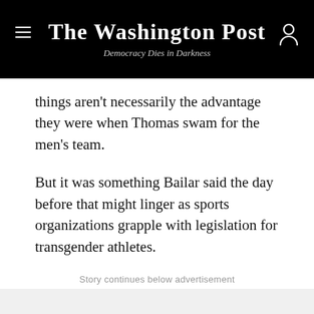The Washington Post — Democracy Dies in Darkness
things aren't necessarily the advantage they were when Thomas swam for the men's team.
But it was something Bailar said the day before that might linger as sports organizations grapple with legislation for transgender athletes.
Story continues below advertisement